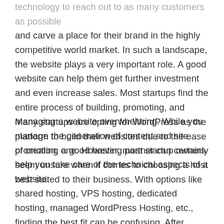technology to reach out to as many customers as possible and carve a place for their brand in the highly competitive world market. In such a landscape, the website plays a very important role. A good website can help them get further investment and even increase sales. Most startups find the entire process of building, promoting, and managing a website overwhelming. While you manage the generation of content and site promotion, a good hosting partner can certainly help you take care of the technical aspects of a website.
Many startups are opting for WordPress as the platform to build their websites due to the ease of creating one. However, most startup owners seem unsure when it comes to choosing a host best suited to their business. With options like shared hosting, VPS hosting, dedicated hosting, managed WordPress Hosting, etc., finding the best fit can be confusing. After reviewing various hosting plans, I found that Managed WordPress Hosting is ideal for startups. Here's why…